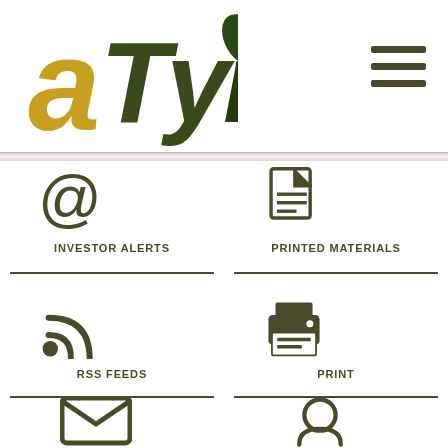[Figure (logo): aTyr Pharma logo with gold 'a' and dark olive 'Tyr' text with leaf motif]
[Figure (infographic): Navigation menu icon: three horizontal dark olive lines (hamburger menu)]
[Figure (infographic): Investor Alerts icon: @ symbol in dark olive]
INVESTOR ALERTS
[Figure (infographic): Printed Materials icon: document/page icon in dark olive]
PRINTED MATERIALS
[Figure (infographic): RSS Feeds icon: RSS signal icon in dark olive]
RSS FEEDS
[Figure (infographic): Print icon: printer icon in dark olive]
PRINT
[Figure (infographic): Email icon partially visible at bottom left]
[Figure (infographic): Search/person icon partially visible at bottom right]